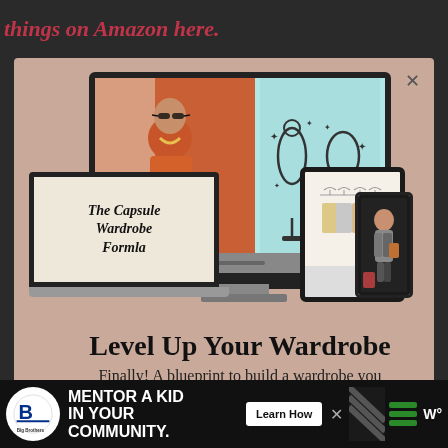things on Amazon here.
[Figure (screenshot): Modal popup with wardrobe course advertisement showing device mockups (monitor, laptop, tablet, phone) with fashion imagery and 'The Capsule Wardrobe Formla' branding on beige/tan background]
Level Up Your Wardrobe
Finally! A blueprint to build a wardrobe you absolutely love
[Figure (screenshot): Bottom advertisement banner: Big Brothers Big Sisters logo, 'MENTOR A KID IN YOUR COMMUNITY.' text, 'Learn How' CTA button, decorative diagonal stripes, green lines, and W° logo on dark background]